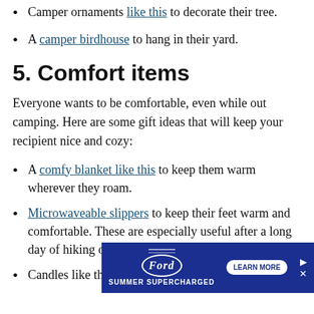Camper ornaments like this to decorate their tree.
A camper birdhouse to hang in their yard.
5. Comfort items
Everyone wants to be comfortable, even while out camping. Here are some gift ideas that will keep your recipient nice and cozy:
A comfy blanket like this to keep them warm wherever they roam.
Microwaveable slippers to keep their feet warm and comfortable. These are especially useful after a long day of hiking or being on your feet.
Candles like this Happy Camper Tin Candle
[Figure (infographic): Ford Summer Supercharged advertisement banner with Ford oval logo, tagline SUMMER SUPERCHARGED, and LEARN MORE button]